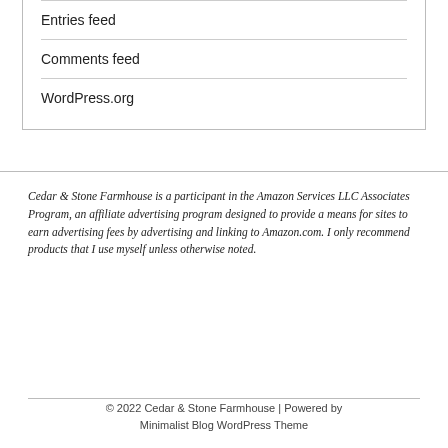Entries feed
Comments feed
WordPress.org
Cedar & Stone Farmhouse is a participant in the Amazon Services LLC Associates Program, an affiliate advertising program designed to provide a means for sites to earn advertising fees by advertising and linking to Amazon.com. I only recommend products that I use myself unless otherwise noted.
© 2022 Cedar & Stone Farmhouse | Powered by Minimalist Blog WordPress Theme